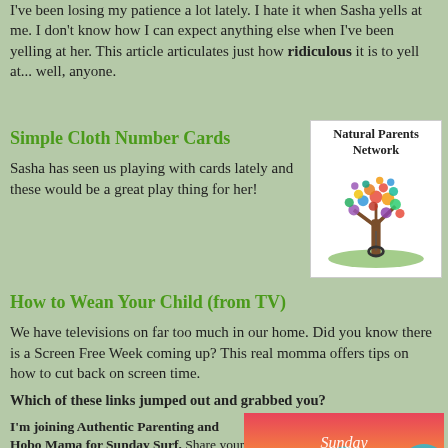I've been losing my patience a lot lately. I hate it when Sasha yells at me. I don't know how I can expect anything else when I've been yelling at her. This article articulates just how ridiculous it is to yell at... well, anyone.
Simple Cloth Number Cards
Sasha has seen us playing with cards lately and these would be a great play thing for her!
[Figure (logo): Natural Parents Network logo with colorful tree and tire swing]
How to Wean Your Child (from TV)
We have televisions on far too much in our home. Did you know there is a Screen Free Week coming up? This real momma offers tips on how to cut back on screen time.
Which of these links jumped out and grabbed you?
I'm joining Authentic Parenting and Hobo Mama for Sunday Surf. Share your best reading of the week, and
[Figure (illustration): Sunday Surf banner with colorful ocean waves]